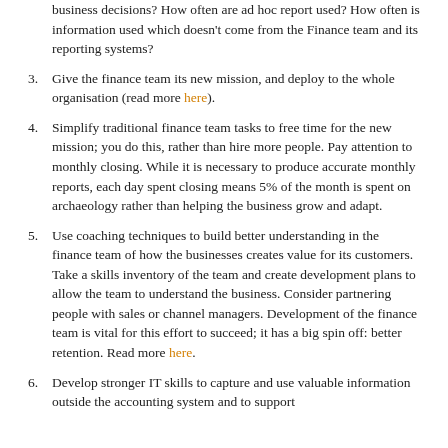(continuation) business decisions? How often are ad hoc report used? How often is information used which doesn't come from the Finance team and its reporting systems?
3. Give the finance team its new mission, and deploy to the whole organisation (read more here).
4. Simplify traditional finance team tasks to free time for the new mission; you do this, rather than hire more people. Pay attention to monthly closing. While it is necessary to produce accurate monthly reports, each day spent closing means 5% of the month is spent on archaeology rather than helping the business grow and adapt.
5. Use coaching techniques to build better understanding in the finance team of how the businesses creates value for its customers. Take a skills inventory of the team and create development plans to allow the team to understand the business. Consider partnering people with sales or channel managers. Development of the finance team is vital for this effort to succeed; it has a big spin off: better retention. Read more here.
6. Develop stronger IT skills to capture and use valuable information outside the accounting system and to support